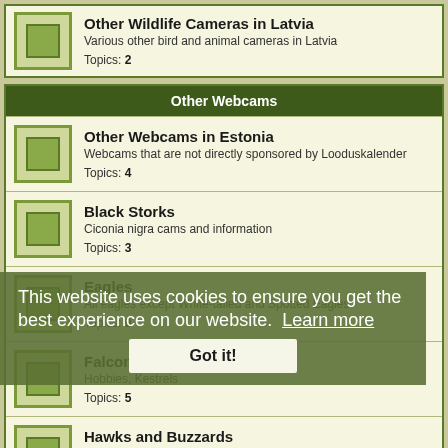Other Wildlife Cameras in Latvia
Various other bird and animal cameras in Latvia
Topics: 2
Other Webcams
Other Webcams in Estonia
Webcams that are not directly sponsored by Looduskalender
Topics: 4
Black Storks
Ciconia nigra cams and information
Topics: 3
Eagles
All eagles except White-tailed and Spotted Eagles
Topics: 9
Falcons
Hobbies, Kestrels
Topics: 5
Hawks and Buzzards
... and other Accipitridae
Topics: 3
Osprey
Topics: 16
This website uses cookies to ensure you get the best experience on our website. Learn more
Got it!